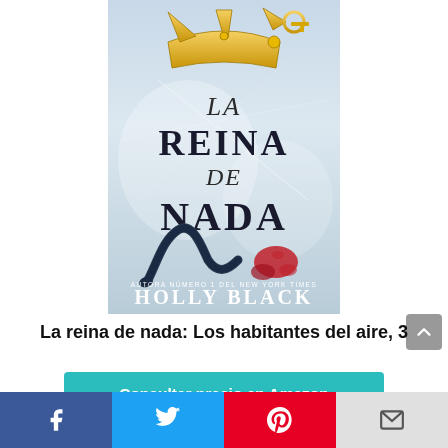[Figure (photo): Book cover of 'La Reina de Nada' by Holly Black, part of Los habitantes del aire series. Cover shows a golden crown, a dark snake, and a red bloodstain on an icy background with the title in large serif text and author name at the bottom.]
La reina de nada: Los habitantes del aire, 3
Consultar precio en Amazon
[Figure (infographic): Social share bar with Facebook, Twitter, Pinterest, and Email icons]